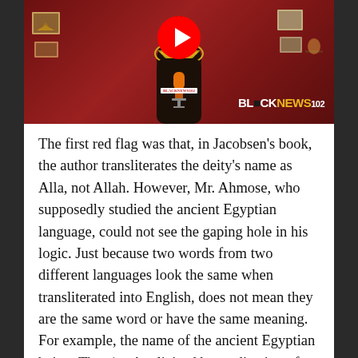[Figure (screenshot): YouTube video thumbnail showing a person wearing Egyptian-style gold collar/necklace in front of a red background with art on walls. A YouTube play button is visible at top center. A microphone is in front of the figure. 'BLACKNEWS102' logo appears in lower right.]
The first red flag was that, in Jacobsen's book, the author transliterates the deity's name as Alla, not Allah. However, Mr. Ahmose, who supposedly studied the ancient Egyptian language, could not see the gaping hole in his logic. Just because two words from two different languages look the same when transliterated into English, does not mean they are the same word or have the same meaning. For example, the name of the ancient Egyptian being, Thot (an Anglicized bastardization of ḏḥwty), has absolutely no relation to the word thought in English, despite the fact that they are pronounced similarly. Likewise, the name of the country, Turkey, has no relation to the word turkey in English. Unfortunately, the similarity is just a